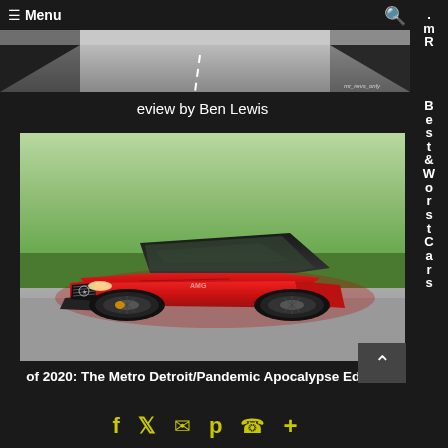≡ Menu
[Figure (photo): Top banner photo strip showing a road/car scene, partially cropped]
eview by Ben Lewis
[Figure (photo): Red Mercedes-AMG GT four-door coupe parked on a road with green trees in the background. Watermark: mr_revs_only]
Best & Worst Cars of 2020: The Metro Detroit/Pandemic Apocalypse Edition
Best & Worst Cars of 2020: The Metro Detroit/Pandemic Apocalypse Edition